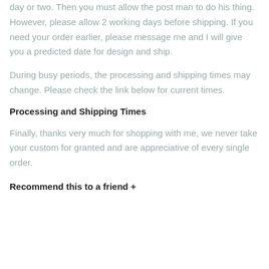day or two. Then you must allow the post man to do his thing. However, please allow 2 working days before shipping. If you need your order earlier, please message me and I will give you a predicted date for design and ship.
During busy periods, the processing and shipping times may change. Please check the link below for current times.
Processing and Shipping Times
Finally, thanks very much for shopping with me, we never take your custom for granted and are appreciative of every single order.
Recommend this to a friend +